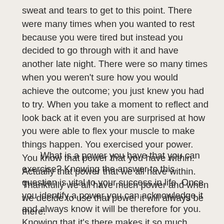sweat and tears to get to this point. There were many times when you wanted to rest because you were tired but instead you decided to go through with it and have another late night. There were so many times when you weren't sure how you would achieve the outcome; you just knew you had to try. When you take a moment to reflect and look back at it even you are surprised at how you were able to flex your muscle to make things happen. You exercised your power. You know that power that you have within. Actually that power that we all have within. Thankfully we all have much power and when we decide to use that power it will always be there.
What is a power you have that you can exercise? Knowing the answer to this question is vital to your success in life. Once you identify a power you can acknowledge it and always know it will be therefore for you. Knowing that it's there makes it so much easier to access. The quicker you can access one of your powers the faster you can begin to exercise it. Life is short and wasting time not exercising a power that you have is not going to benefit you well. Instead of wasting time you should always strive to